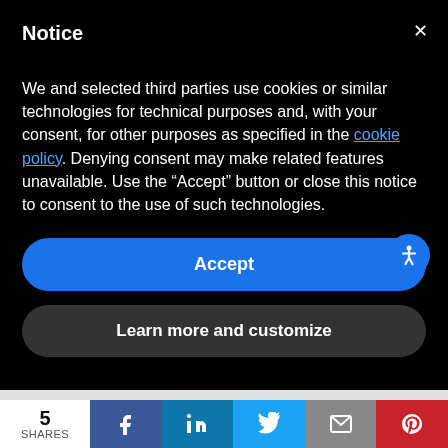Notice
We and selected third parties use cookies or similar technologies for technical purposes and, with your consent, for other purposes as specified in the cookie policy. Denying consent may make related features unavailable. Use the "Accept" button or close this notice to consent to the use of such technologies.
[Figure (screenshot): Accept button — blue rounded rectangle with white bold text 'Accept']
[Figure (screenshot): Learn more and customize button — dark rounded rectangle with white bold text]
Ultimately, U.S. District Court Judge Laura Taylor Swain sided with the celebs, dismissing all claims against Jessica Seinfeld, stating that there was no
[Figure (infographic): Share bar at bottom: 5 SHARES count, then Facebook, LinkedIn, Twitter, Email, Pinterest icons]